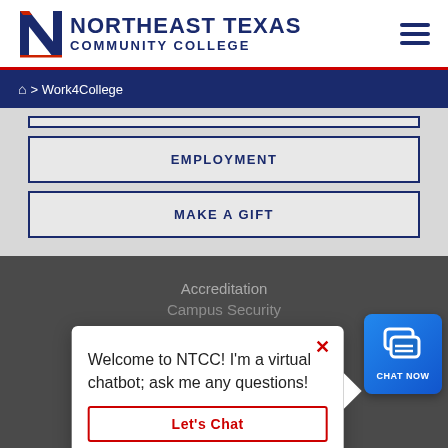[Figure (logo): Northeast Texas Community College logo with N lettermark and text]
🏠 > Work4College
EMPLOYMENT
MAKE A GIFT
Accreditation
Campus Security
Welcome to NTCC! I'm a virtual chatbot; ask me any questions!
Let's Chat
[Figure (screenshot): Chat Now button with speech bubble icon]